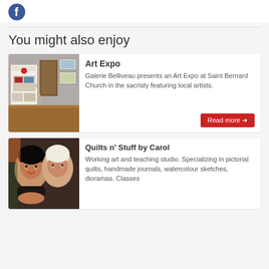[Figure (logo): Facebook icon - blue circle with white 'f']
You might also enjoy
[Figure (photo): Interior of an art gallery showing framed artwork on walls and a display board with a Canadian maple leaf motif, hardwood floors]
Art Expo
Galerie Belliveau presents an Art Expo at Saint Bernard Church in the sacristy featuring local artists.
Read more →
[Figure (photo): Two women posing together, one with dark short hair and one with light/white hair]
Quilts n' Stuff by Carol
Working art and teaching studio. Specializing in pictorial quilts, handmade journals, watercolour sketches, dioramas. Classes